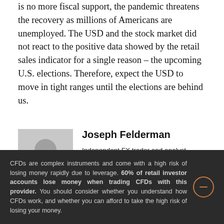is no more fiscal support, the pandemic threatens the recovery as millions of Americans are unemployed. The USD and the stock market did not react to the positive data showed by the retail sales indicator for a single reason – the upcoming U.S. elections. Therefore, expect the USD to move in tight ranges until the elections are behind us.
[Figure (illustration): Generic user avatar placeholder icon — grey silhouette of a person on grey background]
Joseph Felderman
Independent FX trader and analyst. Joseph has been engaged in the financial market since 2008 with experience in currencies, commodities and cryptocurrencies.
This site uses cookies to store data. By continuing to use the
CFDs are complex instruments and come with a high risk of losing money rapidly due to leverage. 60% of retail investor accounts lose money when trading CFDs with this provider. You should consider whether you understand how CFDs work, and whether you can afford to take the high risk of losing your money.